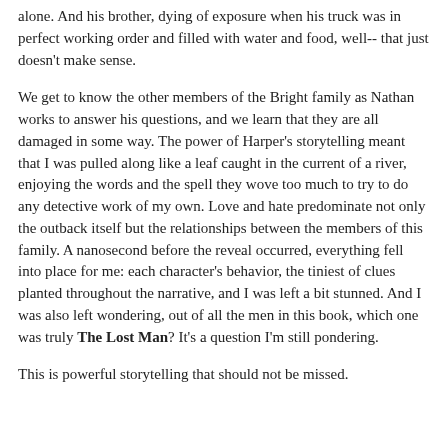alone. And his brother, dying of exposure when his truck was in perfect working order and filled with water and food, well-- that just doesn't make sense.
We get to know the other members of the Bright family as Nathan works to answer his questions, and we learn that they are all damaged in some way. The power of Harper's storytelling meant that I was pulled along like a leaf caught in the current of a river, enjoying the words and the spell they wove too much to try to do any detective work of my own. Love and hate predominate not only the outback itself but the relationships between the members of this family. A nanosecond before the reveal occurred, everything fell into place for me: each character's behavior, the tiniest of clues planted throughout the narrative, and I was left a bit stunned. And I was also left wondering, out of all the men in this book, which one was truly The Lost Man? It's a question I'm still pondering.
This is powerful storytelling that should not be missed.